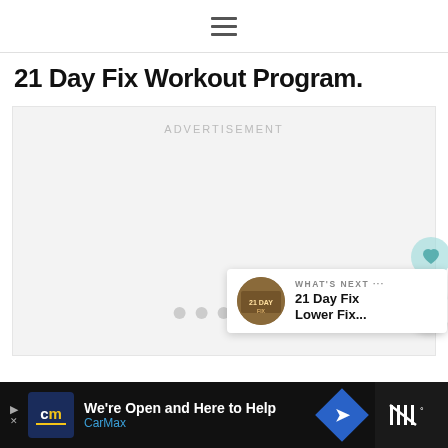☰ (hamburger menu icon)
21 Day Fix Workout Program.
[Figure (other): Advertisement placeholder area with 'ADVERTISEMENT' label, floating heart and share buttons, three dot pagination indicators, and a 'What's Next' card showing '21 Day Fix Lower Fix...' with a thumbnail image]
[Figure (other): Bottom advertisement banner for CarMax with logo, text 'We're Open and Here to Help', CarMax branding, a blue diamond arrow icon, and a dark right panel with tally mark style logo]